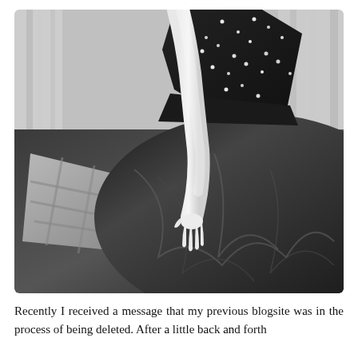[Figure (photo): Black and white photograph of a person in a sparkly strapless ball gown sitting or reclining on a bed with dark bedding and a plaid pillow. Only the torso, arm, and hand are visible. The hand rests on the dark fabric of the skirt.]
Recently I received a message that my previous blogsite was in the process of being deleted. After a little back and forth